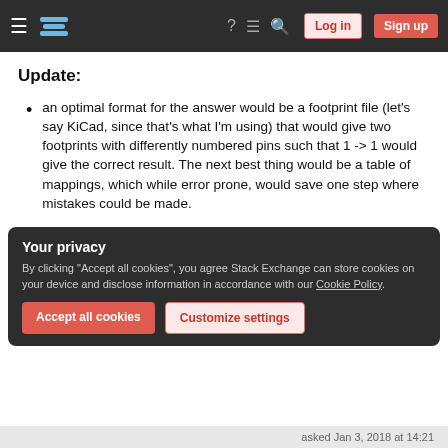Stack Exchange navigation bar with logo, help, chat, search, Log in, Sign up
Update:
an optimal format for the answer would be a footprint file (let's say KiCad, since that's what I'm using) that would give two footprints with differently numbered pins such that 1 -> 1 would give the correct result. The next best thing would be a table of mappings, which while error prone, would save one step where mistakes could be made.
Your privacy
By clicking "Accept all cookies", you agree Stack Exchange can store cookies on your device and disclose information in accordance with our Cookie Policy.
[Accept all cookies] [Customize settings]
asked Jan 3, 2018 at 14:21